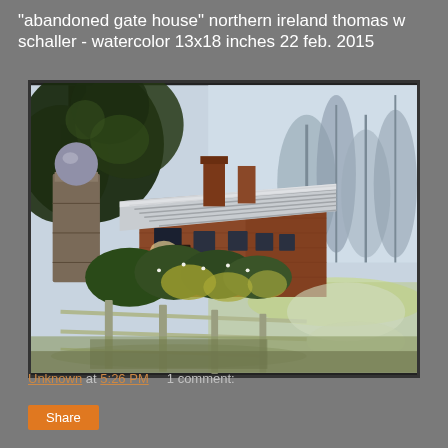"abandoned gate house" northern ireland thomas w schaller - watercolor 13x18 inches 22 feb. 2015
[Figure (illustration): Watercolor painting of an abandoned gate house in Northern Ireland. Shows a brick cottage with a corrugated metal roof under large dark trees on the left, misty trees in the background right, overgrown bushes and vegetation in the middle ground, and a wooden fence in the foreground with a stone gate pillar topped with a sphere on the far left.]
Unknown at 5:26 PM   1 comment:
Share